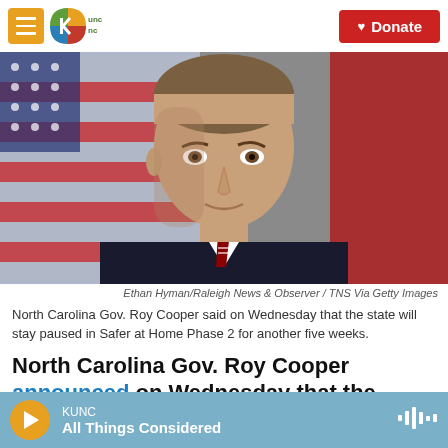KUNC | Donate
[Figure (photo): Portrait photo of North Carolina Governor Roy Cooper in front of an American flag and red backdrop, wearing a dark suit and striped tie.]
Ethan Hyman/Raleigh News & Observer / TNS Via Getty Images
North Carolina Gov. Roy Cooper said on Wednesday that the state will stay paused in Safer at Home Phase 2 for another five weeks.
North Carolina Gov. Roy Cooper announced on Wednesday that the state's economy will remain
KUNC | All Things Considered